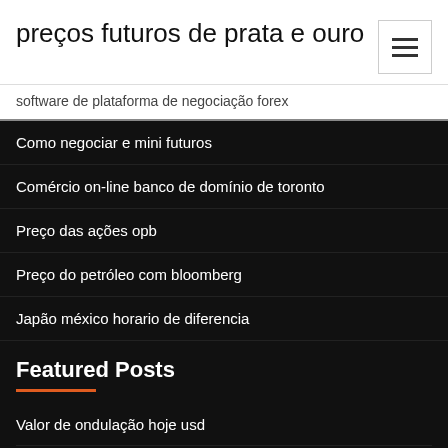preços futuros de prata e ouro
software de plataforma de negociação forex
Como negociar e mini futuros
Comércio on-line banco de domínio de toronto
Preço das ações opb
Preço do petróleo com bloomberg
Japão méxico horario de diferencia
Featured Posts
Valor de ondulação hoje usd
Shw desempenho das ações
Horário de negociação fox prata